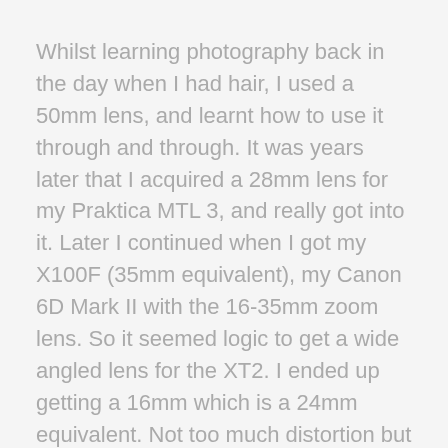Whilst learning photography back in the day when I had hair, I used a 50mm lens, and learnt how to use it through and through. It was years later that I acquired a 28mm lens for my Praktica MTL 3, and really got into it. Later I continued when I got my X100F (35mm equivalent), my Canon 6D Mark II with the 16-35mm zoom lens. So it seemed logic to get a wide angled lens for the XT2. I ended up getting a 16mm which is a 24mm equivalent. Not too much distortion but still nice and wide.
Parked in Feydeau, and just next to the Chateau des Ducs de Bretagne, or Nantes Castle, I thought why the heck not, and headed up there. I just went with no specific goals, and waited for the photos to present themselves whilst walking around. I discovered a little art gallery that I hadn't seen before and it was a real inspiration.